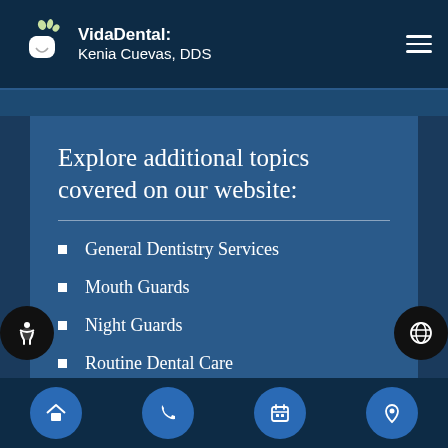VidaDental: Kenia Cuevas, DDS
Explore additional topics covered on our website:
General Dentistry Services
Mouth Guards
Night Guards
Routine Dental Care
Wisdom Teeth Extraction